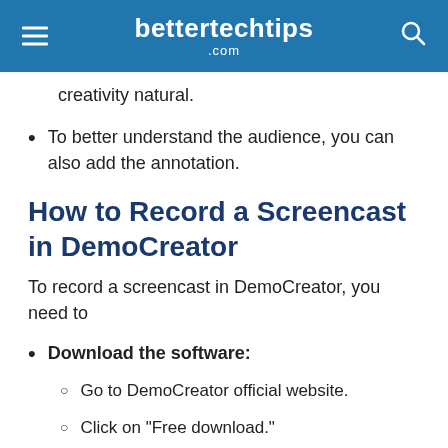bettertechtips .com
creativity natural.
To better understand the audience, you can also add the annotation.
How to Record a Screencast in DemoCreator
To record a screencast in DemoCreator, you need to
Download the software:
Go to DemoCreator official website.
Click on “Free download.”